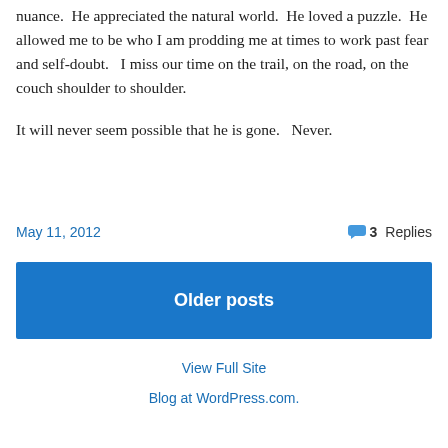nuance.  He appreciated the natural world.  He loved a puzzle.  He allowed me to be who I am prodding me at times to work past fear and self-doubt.   I miss our time on the trail, on the road, on the couch shoulder to shoulder.
It will never seem possible that he is gone.   Never.
May 11, 2012
3 Replies
Older posts
View Full Site
Blog at WordPress.com.